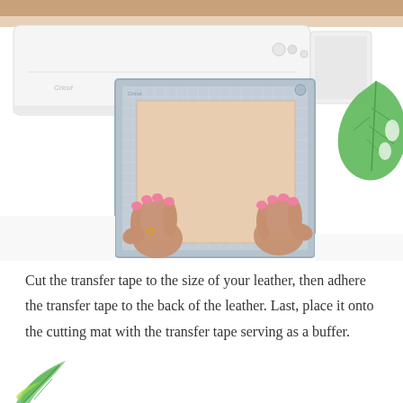[Figure (photo): Photo of hands placing a peach/tan leather sheet onto a grey Cricut cutting mat, with a white Cricut machine in the background and a monstera leaf decoration on the right side.]
Cut the transfer tape to the size of your leather, then adhere the transfer tape to the back of the leather. Last, place it onto the cutting mat with the transfer tape serving as a buffer.